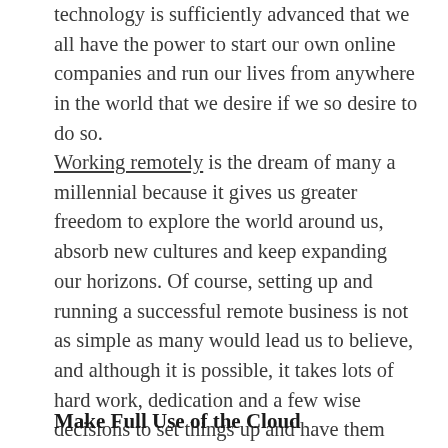technology is sufficiently advanced that we all have the power to start our own online companies and run our lives from anywhere in the world that we desire if we so desire to do so.
Working remotely is the dream of many a millennial because it gives us greater freedom to explore the world around us, absorb new cultures and keep expanding our horizons. Of course, setting up and running a successful remote business is not as simple as many would lead us to believe, and although it is possible, it takes lots of hard work, dedication and a few wise decisions to set things up and have them running smoothly. With that in mind, here are a few tips to help you get started on your journey as a remote-working intrapreneur:
Make Full Use of the Cloud